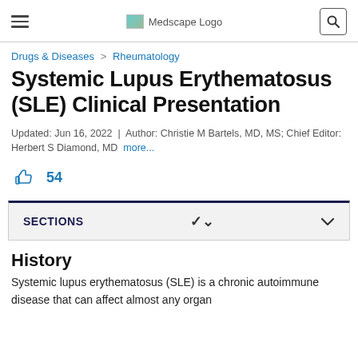Medscape Logo
Drugs & Diseases > Rheumatology
Systemic Lupus Erythematosus (SLE) Clinical Presentation
Updated: Jun 16, 2022 | Author: Christie M Bartels, MD, MS; Chief Editor: Herbert S Diamond, MD more...
[Figure (other): Thumbs up like icon with count 54]
SECTIONS
History
Systemic lupus erythematosus (SLE) is a chronic autoimmune disease that can affect almost any organ